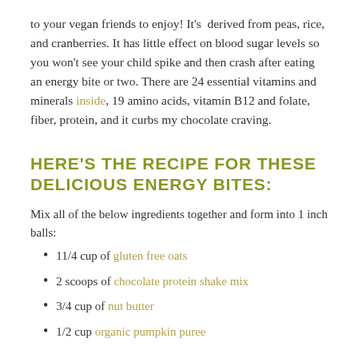to your vegan friends to enjoy! It's derived from peas, rice, and cranberries. It has little effect on blood sugar levels so you won't see your child spike and then crash after eating an energy bite or two. There are 24 essential vitamins and minerals inside, 19 amino acids, vitamin B12 and folate, fiber, protein, and it curbs my chocolate craving.
HERE'S THE RECIPE FOR THESE DELICIOUS ENERGY BITES:
Mix all of the below ingredients together and form into 1 inch balls:
11/4 cup of gluten free oats
2 scoops of chocolate protein shake mix
3/4 cup of nut butter
1/2 cup organic pumpkin puree